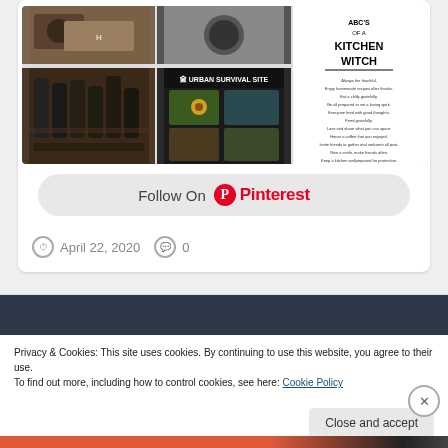[Figure (screenshot): Pinterest board collage with herb/kitchen witch themed images including tea, bottles, herbs, and an ABC's of a Kitchen Witch graphic]
Follow On Pinterest
April 22, 2020  0
Privacy & Cookies: This site uses cookies. By continuing to use this website, you agree to their use.
To find out more, including how to control cookies, see here: Cookie Policy
Close and accept